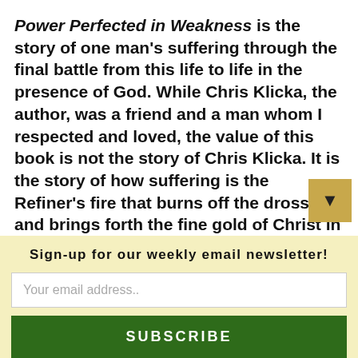Power Perfected in Weakness is the story of one man's suffering through the final battle from this life to life in the presence of God. While Chris Klicka, the author, was a friend and a man whom I respected and loved, the value of this book is not the story of Chris Klicka. It is the story of how suffering is the Refiner's fire that burns off the dross and brings forth the fine gold of Christ in the believer's life. The book will teach you about how to suffer and how Christ's power is perfected in weakness. —Tedd Tripp
Sign-up for our weekly email newsletter!
Your email address..
SUBSCRIBE